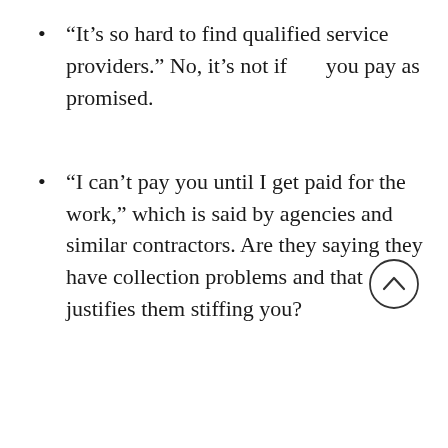“It’s so hard to find qualified service providers.” No, it’s not if       you pay as promised.
“I can’t pay you until I get paid for the work,” which is said by agencies and similar contractors. Are they saying they have collection problems and that justifies them stiffing you?